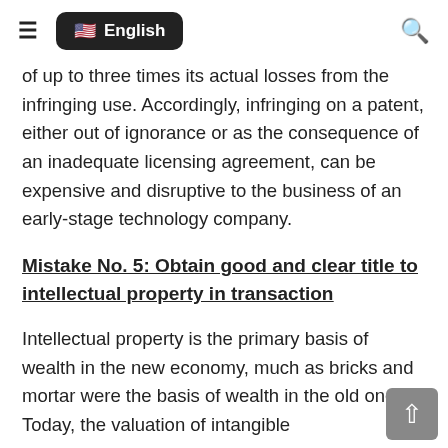≡  🇺🇸 English  🔍
of up to three times its actual losses from the infringing use. Accordingly, infringing on a patent, either out of ignorance or as the consequence of an inadequate licensing agreement, can be expensive and disruptive to the business of an early-stage technology company.
Mistake No. 5: Obtain good and clear title to intellectual property in transaction
Intellectual property is the primary basis of wealth in the new economy, much as bricks and mortar were the basis of wealth in the old one. Today, the valuation of intangible